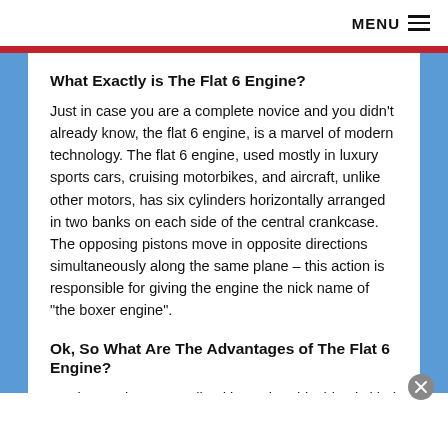MENU ≡
What Exactly is The Flat 6 Engine?
Just in case you are a complete novice and you didn't already know, the flat 6 engine, is a marvel of modern technology. The flat 6 engine, used mostly in luxury sports cars, cruising motorbikes, and aircraft, unlike other motors, has six cylinders horizontally arranged in two banks on each side of the central crankcase. The opposing pistons move in opposite directions simultaneously along the same plane – this action is responsible for giving the engine the nick name of "the boxer engine".
Ok, So What Are The Advantages of The Flat 6 Engine?
Maybe you haven't realized it yet, but this thing is kind of a big deal. The configuration of the flat 6 engine has a great